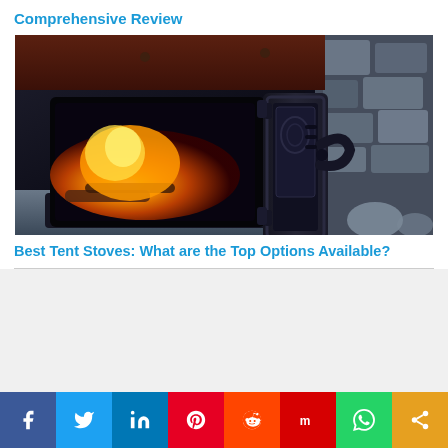Comprehensive Review
[Figure (photo): Close-up photo of a wood-burning tent stove with the cast iron door open, showing orange flames and burning logs inside the firebox. The stove is black cast iron with decorative door panel and handle. Background shows stone wall.]
Best Tent Stoves: What are the Top Options Available?